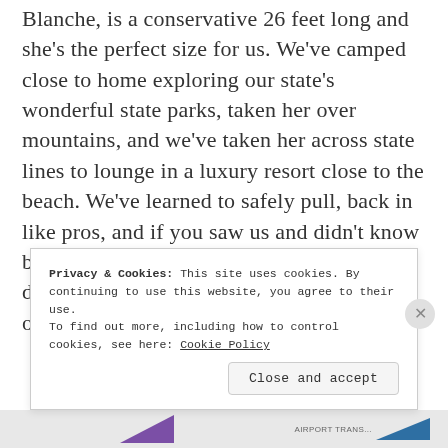Blanche, is a conservative 26 feet long and she's the perfect size for us. We've camped close to home exploring our state's wonderful state parks, taken her over mountains, and we've taken her across state lines to lounge in a luxury resort close to the beach. We've learned to safely pull, back in like pros, and if you saw us and didn't know better, we look like we know what we're doing. As a team, my husband and I have our specific jobs when
Privacy & Cookies: This site uses cookies. By continuing to use this website, you agree to their use. To find out more, including how to control cookies, see here: Cookie Policy
Close and accept